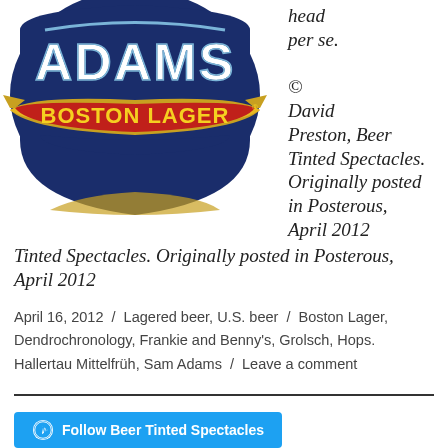[Figure (logo): Sam Adams Boston Lager beer label logo — dark blue shield with 'ADAMS' text, gold ribbon banner with 'BOSTON LAGER' in yellow text on red background]
head per se.

© David Preston, Beer Tinted Spectacles. Originally posted in Posterous, April 2012
April 16, 2012 / Lagered beer, U.S. beer / Boston Lager, Dendrochronology, Frankie and Benny's, Grolsch, Hops. Hallertau Mittelfrüh, Sam Adams / Leave a comment
[Figure (logo): WordPress Follow button: 'Follow Beer Tinted Spectacles' in white text on blue background with WordPress logo icon]